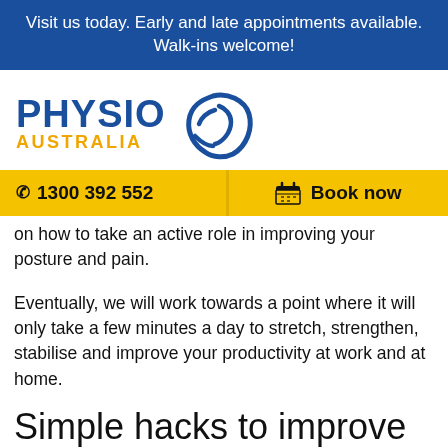Visit us today. Early and late appointments available. Walk-ins welcome!
[Figure (logo): Physio Australia logo with kangaroo-shaped circular emblem. Text reads PHYSIO in dark blue bold, AUSTRALIA in gold/yellow.]
1300 392 552
Book now
on how to take an active role in improving your posture and pain.
Eventually, we will work towards a point where it will only take a few minutes a day to stretch, strengthen, stabilise and improve your productivity at work and at home.
Simple hacks to improve your posture in the